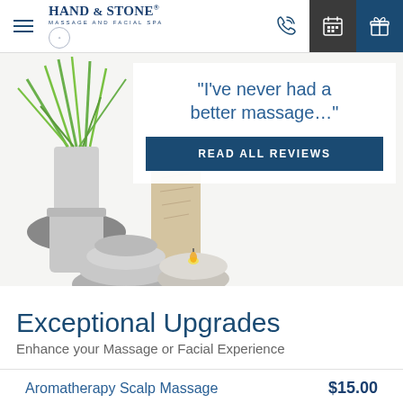Hand & Stone Massage and Facial Spa - navigation header with hamburger menu, logo, phone icon, calendar icon, gift icon
[Figure (photo): Spa scene with stacked grey river stones, a lit white candle, tall grass plant in white pot, and a natural textured stone object on white background]
"I've never had a better massage…"
READ ALL REVIEWS
Exceptional Upgrades
Enhance your Massage or Facial Experience
Aromatherapy Scalp Massage    $15.00